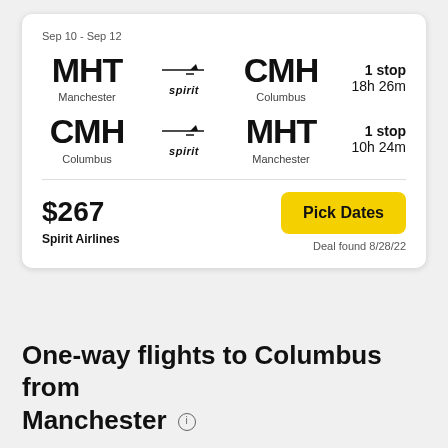Sep 10 - Sep 12
[Figure (infographic): Flight card showing MHT (Manchester) to CMH (Columbus) operated by Spirit, 1 stop, 18h 26m; and return CMH (Columbus) to MHT (Manchester) operated by Spirit, 1 stop, 10h 24m. Price $267, Spirit Airlines, Pick Dates button, Deal found 8/28/22.]
One-way flights to Columbus from Manchester